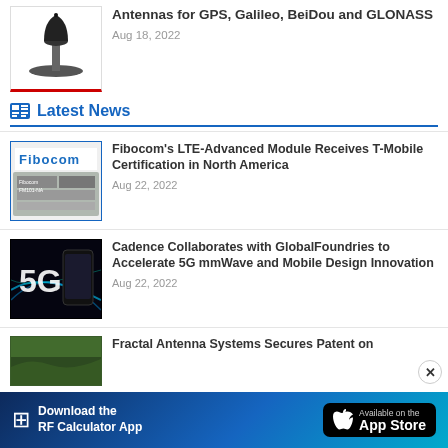[Figure (photo): GPS antenna product photo - black bullet-shaped antenna on a disc mount]
Antennas for GPS, Galileo, BeiDou and GLONASS
Aug 18, 2022
Latest News
[Figure (photo): Fibocom LTE module product photo showing the Fibocom FM101-NA module board]
Fibocom's LTE-Advanced Module Receives T-Mobile Certification in North America
Aug 22, 2022
[Figure (photo): 5G smartphone photo on dark background with glowing 5G logo]
Cadence Collaborates with GlobalFoundries to Accelerate 5G mmWave and Mobile Design Innovation
Aug 22, 2022
[Figure (photo): Aerial/satellite image with green landscape - Fractal Antenna Systems article image]
Fractal Antenna Systems Secures Patent on
[Figure (infographic): Download the RF Calculator App - Available on the App Store banner ad]